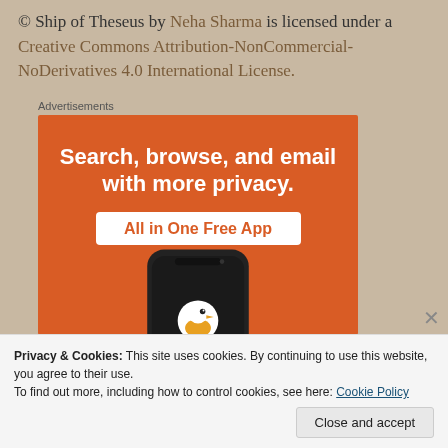© Ship of Theseus by Neha Sharma is licensed under a Creative Commons Attribution-NonCommercial-NoDerivatives 4.0 International License.
Advertisements
[Figure (illustration): DuckDuckGo advertisement banner with orange background. Text reads: 'Search, browse, and email with more privacy. All in One Free App'. Shows a smartphone with DuckDuckGo duck logo.]
Privacy & Cookies: This site uses cookies. By continuing to use this website, you agree to their use.
To find out more, including how to control cookies, see here: Cookie Policy